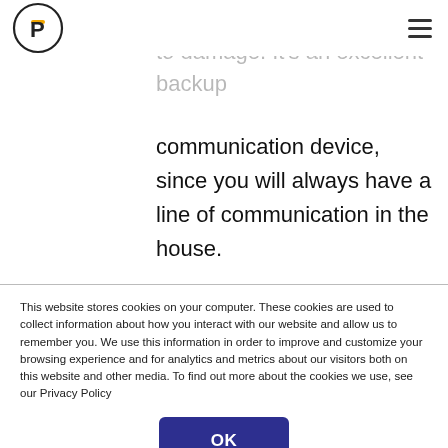P [logo] ≡ [hamburger menu]
more robust and less prone to damage. It's an excellent backup communication device, since you will always have a line of communication in the house.
What a landline looks like today
The world is moving towards a smarter,
This website stores cookies on your computer. These cookies are used to collect information about how you interact with our website and allow us to remember you. We use this information in order to improve and customize your browsing experience and for analytics and metrics about our visitors both on this website and other media. To find out more about the cookies we use, see our Privacy Policy
OK